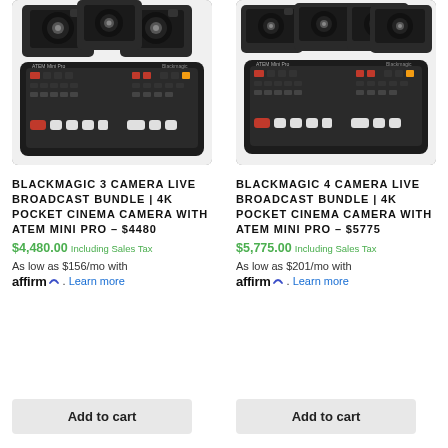[Figure (photo): Photo of Blackmagic 3 Camera Live Broadcast Bundle showing three Pocket Cinema Cameras and ATEM Mini Pro switcher]
BLACKMAGIC 3 CAMERA LIVE BROADCAST BUNDLE | 4K POCKET CINEMA CAMERA WITH ATEM MINI PRO – $4480
$4,480.00 Including Sales Tax
As low as $156/mo with affirm. Learn more
Add to cart
[Figure (photo): Photo of Blackmagic 4 Camera Live Broadcast Bundle showing four Pocket Cinema Cameras and ATEM Mini Pro switcher]
BLACKMAGIC 4 CAMERA LIVE BROADCAST BUNDLE | 4K POCKET CINEMA CAMERA WITH ATEM MINI PRO – $5775
$5,775.00 Including Sales Tax
As low as $201/mo with affirm. Learn more
Add to cart